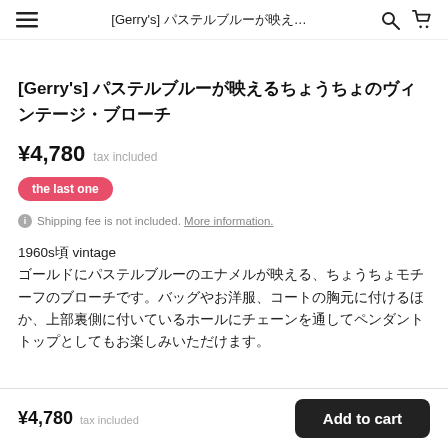[Gerry's] パステルブルーが映え…
[Gerry's] パステルブルーが映えるちょうちょのヴィンテージ・ブローチ
¥4,780  tax included
the last one
Shipping fee is not included. More information.
1960s頃 vintage
ゴールドにパステルブルーのエナメルが映える、ちょうちょモチーフのブローチです。バッグやお洋服、コートの胸元に付けるほか、上部裏側に付いているホールにチェーンを通してペンダントトップとしてもお楽しみいただけます。
¥4,780  tax included   Add to cart